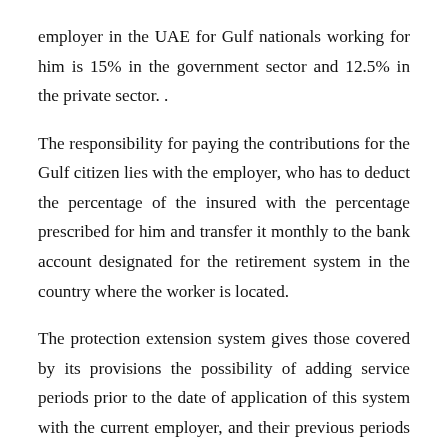employer in the UAE for Gulf nationals working for him is 15% in the government sector and 12.5% in the private sector. .
The responsibility for paying the contributions for the Gulf citizen lies with the employer, who has to deduct the percentage of the insured with the percentage prescribed for him and transfer it monthly to the bank account designated for the retirement system in the country where the worker is located.
The protection extension system gives those covered by its provisions the possibility of adding service periods prior to the date of application of this system with the current employer, and their previous periods of service in their countries may be combined according to the conditions for adding service periods in their retirement agencies.